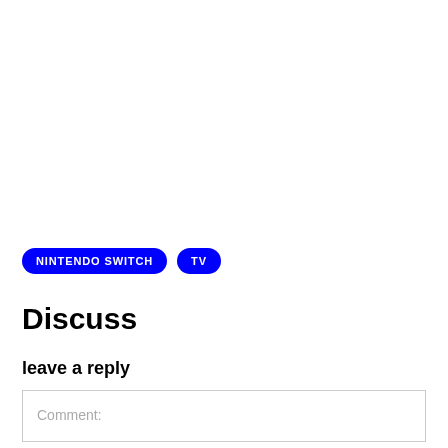NINTENDO SWITCH  TV
Discuss
leave a reply
Comment: